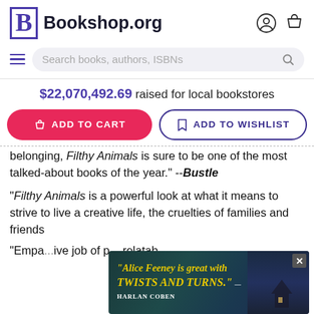Bookshop.org
Search books, authors, ISBNs
$22,070,492.69 raised for local bookstores
ADD TO CART
ADD TO WISHLIST
...Not shying away from scenes of sexuality, violence, and belonging, Filthy Animals is sure to be one of the most talked-about books of the year." --Bustle
"Filthy Animals is a powerful look at what it means to strive to live a creative life, the cruelties of families and friends...
"Empa... ive job of p... relatab...
[Figure (screenshot): Advertisement overlay with dark teal/night background, text reading "Alice Feeney is great with TWISTS AND TURNS." — HARLAN COBEN, with an X close button]